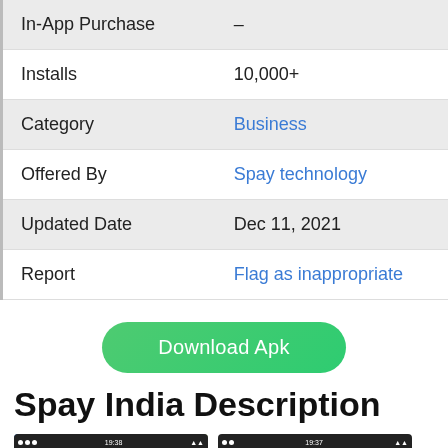| In-App Purchase | – |
| Installs | 10,000+ |
| Category | Business |
| Offered By | Spay technology |
| Updated Date | Dec 11, 2021 |
| Report | Flag as inappropriate |
Download Apk
Spay India Description
[Figure (screenshot): Two Android app screenshots side by side showing Spay India app interface with blue/yellow design and ₹126.25 displayed]